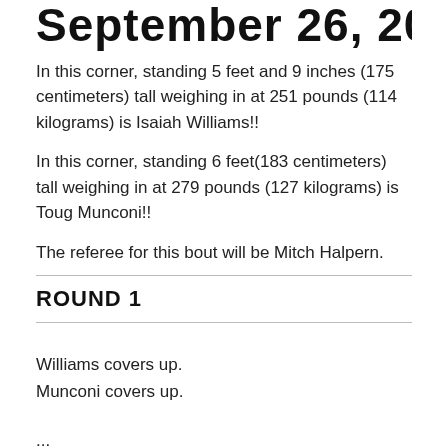September 26, 2018
In this corner, standing 5 feet and 9 inches (175 centimeters) tall weighing in at 251 pounds (114 kilograms) is Isaiah Williams!!
In this corner, standing 6 feet(183 centimeters) tall weighing in at 279 pounds (127 kilograms) is Toug Munconi!!
The referee for this bout will be Mitch Halpern.
ROUND 1
Williams covers up.
Munconi covers up.
...